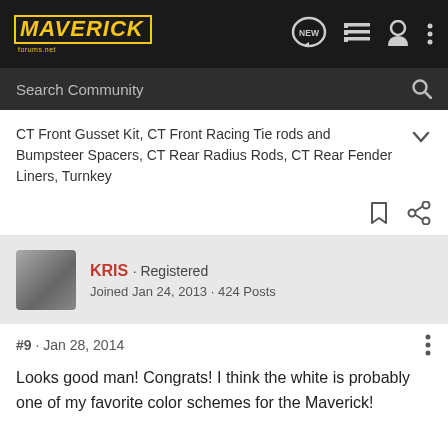MAVERICK forums.net
Search Community
CT Front Gusset Kit, CT Front Racing Tie rods and Bumpsteer Spacers, CT Rear Radius Rods, CT Rear Fender Liners, Turnkey
KRIS · Registered
Joined Jan 24, 2013 · 424 Posts
#9 · Jan 28, 2014
Looks good man! Congrats! I think the white is probably one of my favorite color schemes for the Maverick!